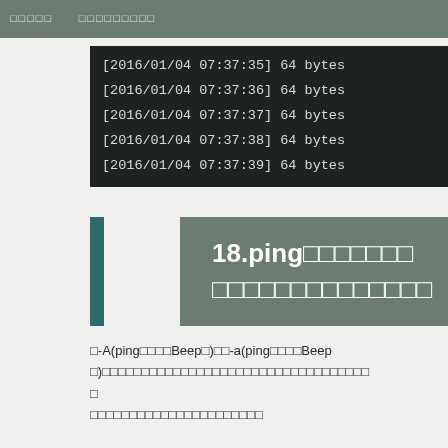□□□□□ □□□□□□□□□
[Figure (screenshot): Terminal/console output showing timestamped ping results: [2016/01/04 07:37:35] 64 bytes, [2016/01/04 07:37:36] 64 bytes, [2016/01/04 07:37:37] 64 bytes, [2016/01/04 07:37:38] 64 bytes, [2016/01/04 07:37:39] 64 bytes]
18.ping□□□□□□□ □□□□□□□□□□□□□□
□-A(ping□□□□Beep□)□□-a(ping□□□□Beep□)□□□□□□□□□□□□□□□□□□□□□□□□□□□□□□□ □□ □□□□□□□□□□□□□□□□□□□□